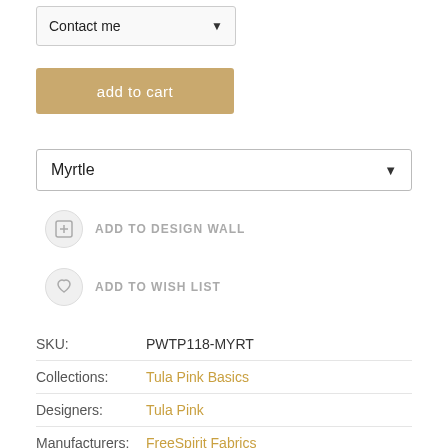Contact me
add to cart
Myrtle
ADD TO DESIGN WALL
ADD TO WISH LIST
| SKU: | PWTP118-MYRT |
| Collections: | Tula Pink Basics |
| Designers: | Tula Pink |
| Manufacturers: | FreeSpirit Fabrics |
| Fabric Types: | Quilting Cotton |